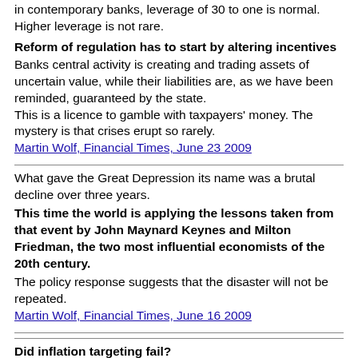in contemporary banks, leverage of 30 to one is normal. Higher leverage is not rare.
Reform of regulation has to start by altering incentives
Banks central activity is creating and trading assets of uncertain value, while their liabilities are, as we have been reminded, guaranteed by the state.
This is a licence to gamble with taxpayers' money. The mystery is that crises erupt so rarely.
Martin Wolf, Financial Times, June 23 2009
What gave the Great Depression its name was a brutal decline over three years.
This time the world is applying the lessons taken from that event by John Maynard Keynes and Milton Friedman, the two most influential economists of the 20th century.
The policy response suggests that the disaster will not be repeated.
Martin Wolf, Financial Times, June 16 2009
Did inflation targeting fail?
Central banks have mostly escaped blame for the crisis.
How can it have gone so wrong? Also about The Taylor